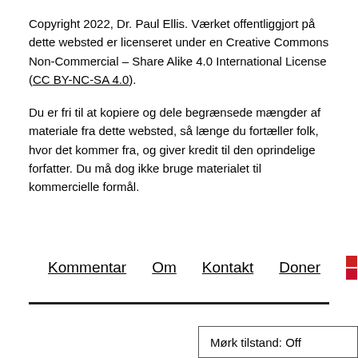Copyright 2022, Dr. Paul Ellis. Værket offentliggjort på dette websted er licenseret under en Creative Commons Non-Commercial – Share Alike 4.0 International License (CC BY-NC-SA 4.0).
Du er fri til at kopiere og dele begrænsede mængder af materiale fra dette websted, så længe du fortæller folk, hvor det kommer fra, og giver kredit til den oprindelige forfatter. Du må dog ikke bruge materialet til kommercielle formål.
Kommentar  Om  Kontakt  Doner  DA ▾
Mørk tilstand: Off